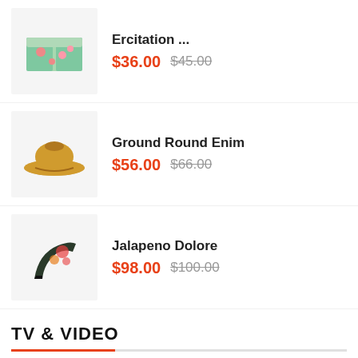Ercitation ... $36.00 $45.00
Ground Round Enim $56.00 $66.00
Jalapeno Dolore $98.00 $100.00
TV & VIDEO